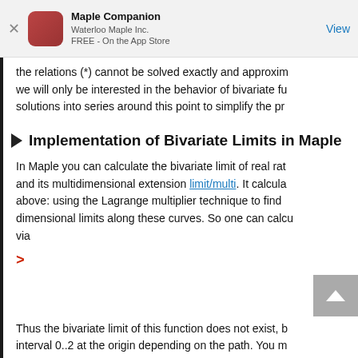Maple Companion
Waterloo Maple Inc.
FREE - On the App Store
the relations (*) cannot be solved exactly and approxim... we will only be interested in the behavior of bivariate fu... solutions into series around this point to simplify the pr...
Implementation of Bivariate Limits in Maple
In Maple you can calculate the bivariate limit of real rat... and its multidimensional extension limit/multi. It calcula... above: using the Lagrange multiplier technique to find ... dimensional limits along these curves. So one can calcu... via
>
Thus the bivariate limit of this function does not exist, b... interval 0..2 at the origin depending on the path. You m...